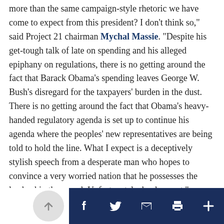more than the same campaign-style rhetoric we have come to expect from this president? I don't think so," said Project 21 chairman Mychal Massie. "Despite his get-tough talk of late on spending and his alleged epiphany on regulations, there is no getting around the fact that Barack Obama's spending leaves George W. Bush's disregard for the taxpayers' burden in the dust. There is no getting around the fact that Obama's heavy-handed regulatory agenda is set up to continue his agenda where the peoples' new representatives are being told to hold the line. What I expect is a deceptively stylish speech from a desperate man who hopes to convince a very worried nation that he possesses the leadership they need. Unfortunately, he does not."